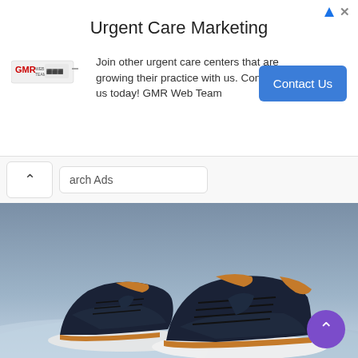[Figure (screenshot): Advertisement banner for Urgent Care Marketing by GMR Web Team with a 'Contact Us' button]
Urgent Care Marketing
Join other urgent care centers that are growing their practice with us. Contact us today! GMR Web Team
arch Ads
[Figure (photo): Product photo of two dark navy blue casual sneakers with tan/brown leather accents and white soles, displayed on a light blue surface with a blue-grey background]